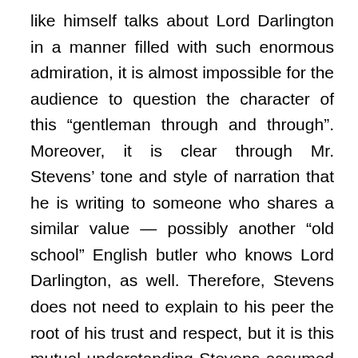like himself talks about Lord Darlington in a manner filled with such enormous admiration, it is almost impossible for the audience to question the character of this “gentleman through and through”. Moreover, it is clear through Mr. Stevens’ tone and style of narration that he is writing to someone who shares a similar value — possibly another “old school” English butler who knows Lord Darlington, as well. Therefore, Stevens does not need to explain to his peer the root of his trust and respect, but it is this mutual understanding Stevens assumed he would share with his audience that might also lead the readers to take Lord Darlington’s respectable status for granted. Consequently, first-time readers must find it very easy to overlook such a detail when Stevens mentions the “great deal of nonsense spoken and written concerning his lordship”. However, it is obvious that Stevens dismisses such “nonsense” not after